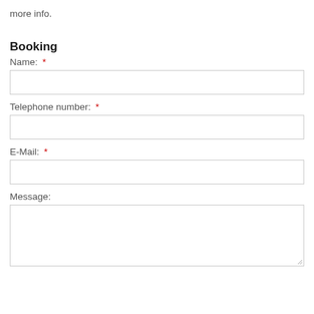more info.
Booking
Name: *
Telephone number: *
E-Mail: *
Message: